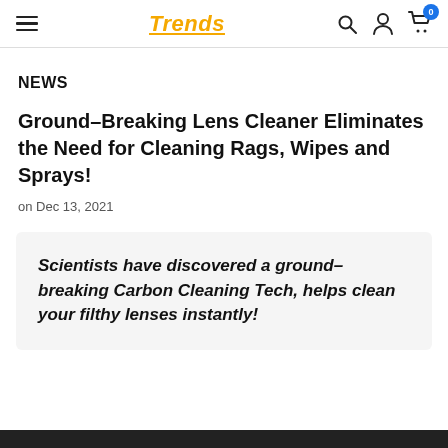Trends
NEWS
Ground-Breaking Lens Cleaner Eliminates the Need for Cleaning Rags, Wipes and Sprays!
on Dec 13, 2021
Scientists have discovered a ground-breaking Carbon Cleaning Tech, helps clean your filthy lenses instantly!